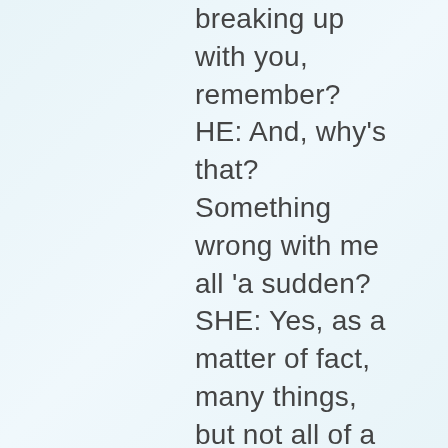breaking up with you, remember? HE: And, why's that? Something wrong with me all 'a sudden? SHE: Yes, as a matter of fact, many things, but not all of a sudden. HE: Like what? Name one thing. SHE: Dogbert,